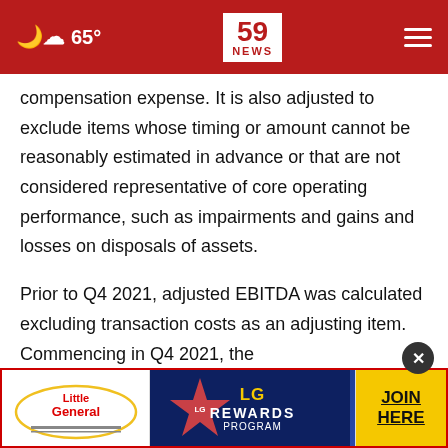65° | 59 NEWS
compensation expense. It is also adjusted to exclude items whose timing or amount cannot be reasonably estimated in advance or that are not considered representative of core operating performance, such as impairments and gains and losses on disposals of assets.
Prior to Q4 2021, adjusted EBITDA was calculated excluding transaction costs as an adjusting item. Commencing in Q4 2021, the Company... as this it... of
[Figure (other): Little General LG Rewards Program advertisement banner with JOIN HERE button]